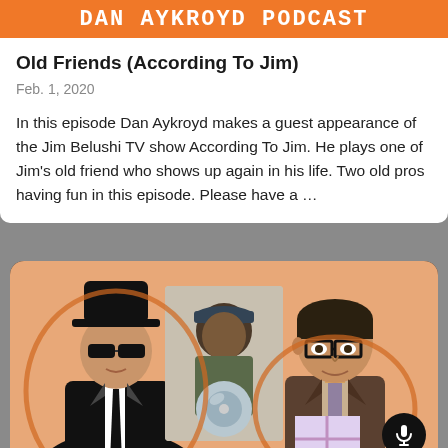DAN AYKROYD PODCAST
Old Friends (According To Jim)
Feb. 1, 2020
In this episode Dan Aykroyd makes a guest appearance of the Jim Belushi TV show According To Jim. He plays one of Jim's old friend who shows up again in his life. Two old pros having fun in this episode. Please have a …
[Figure (illustration): Podcast artwork showing cartoon illustrations of two Blues Brothers-style figures flanking a real photo of a person holding a DVD disc, on an orange background inside a dark rounded card.]